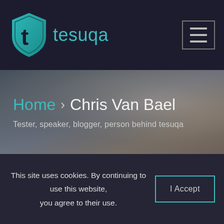tesuqa
[Figure (screenshot): tesuqa website header with logo (shield icon with letter t and teal text 'tesuqa') and hamburger menu icon on dark navy background]
Home › Chris Van Bael
Tester, speaker, blogger, person behind tesuqa
This site uses cookies. By continuing to use this website, you agree to their use.
I Accept